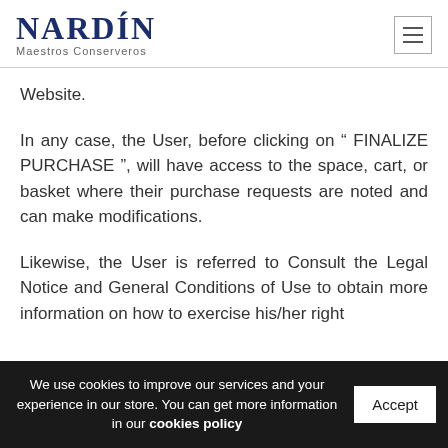NARDÍN Maestros Conserveros
Website.
In any case, the User, before clicking on " FINALIZE PURCHASE ", will have access to the space, cart, or basket where their purchase requests are noted and can make modifications.
Likewise, the User is referred to Consult the Legal Notice and General Conditions of Use to obtain more information on how to exercise his/her right to rectification as established in the General Data...
We use cookies to improve our services and your experience in our store. You can get more information in our cookies policy